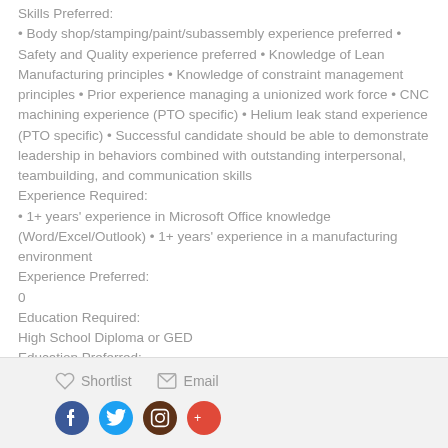Skills Preferred:
• Body shop/stamping/paint/subassembly experience preferred • Safety and Quality experience preferred • Knowledge of Lean Manufacturing principles • Knowledge of constraint management principles • Prior experience managing a unionized work force • CNC machining experience (PTO specific) • Helium leak stand experience (PTO specific) • Successful candidate should be able to demonstrate leadership in behaviors combined with outstanding interpersonal, teambuilding, and communication skills
Experience Required:
• 1+ years' experience in Microsoft Office knowledge (Word/Excel/Outlook) • 1+ years' experience in a manufacturing environment
Experience Preferred:
0
Education Required:
High School Diploma or GED
Education Preferred:
• Bachelor's Degree
Shortlist   Email   [social icons: Facebook, Twitter, Instagram, Google+]